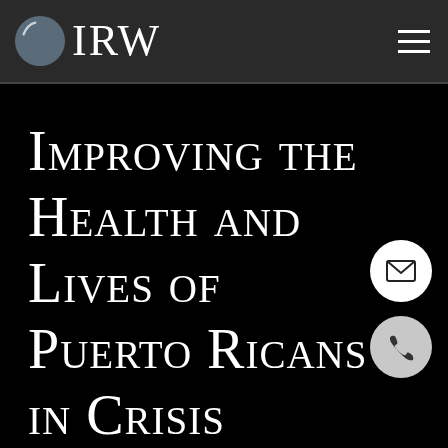[Figure (logo): CIRW logo with circular icon featuring a crescent/globe shape and the text IRW in white serif font on dark background header]
Improving the Health and Lives of Puerto Ricans in Crisis